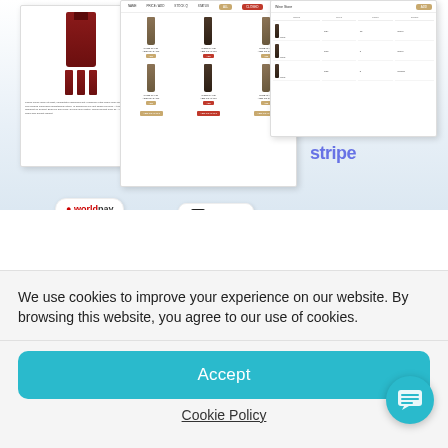[Figure (screenshot): Wine e-commerce website screenshots showing product listings with wine bottles and payment processor logos including Worldpay, Square, Stripe, and Paysera]
We use cookies to improve your experience on our website. By browsing this website, you agree to our use of cookies.
[Figure (other): Accept button - teal rounded rectangle]
Cookie Policy